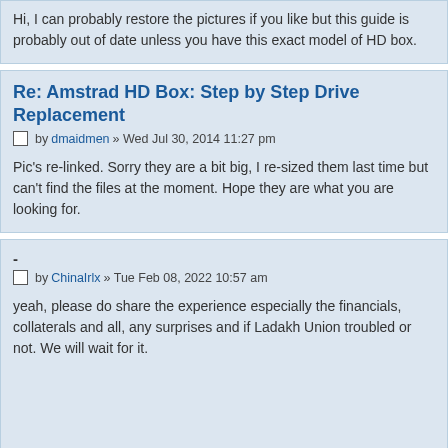Hi, I can probably restore the pictures if you like but this guide is probably out of date unless you have this exact model of HD box.
Re: Amstrad HD Box: Step by Step Drive Replacement
by dmaidmen » Wed Jul 30, 2014 11:27 pm
Pic's re-linked. Sorry they are a bit big, I re-sized them last time but can't find the files at the moment. Hope they are what you are looking for.
-
by ChinaIrlx » Tue Feb 08, 2022 10:57 am
yeah, please do share the experience especially the financials, collaterals and all, any surprises and if Ladakh Union troubled or not. We will wait for it.
Display posts from previous: All posts Sort by Post time
POSTREPLY